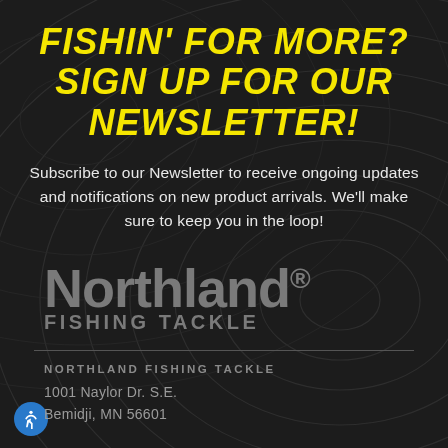FISHIN' FOR MORE? SIGN UP FOR OUR NEWSLETTER!
Subscribe to our Newsletter to receive ongoing updates and notifications on new product arrivals. We'll make sure to keep you in the loop!
[Figure (logo): Northland Fishing Tackle logo in gray on dark background]
NORTHLAND FISHING TACKLE
1001 Naylor Dr. S.E.
Bemidji, MN 56601